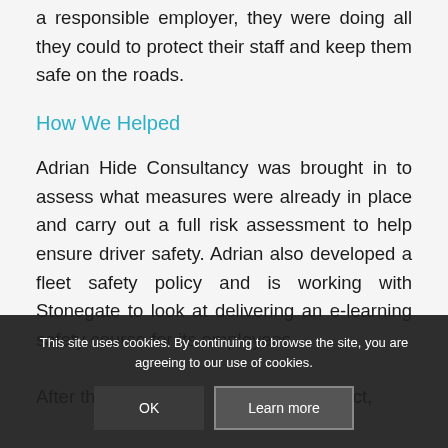a responsible employer, they were doing all they could to protect their staff and keep them safe on the roads.
How We Helped
Adrian Hide Consultancy was brought in to assess what measures were already in place and carry out a full risk assessment to help ensure driver safety. Adrian also developed a fleet safety policy and is working with Stonegate to look at delivering an e-learning safety course for its employees.
After the completion of the project,
This site uses cookies. By continuing to browse the site, you are agreeing to our use of cookies.